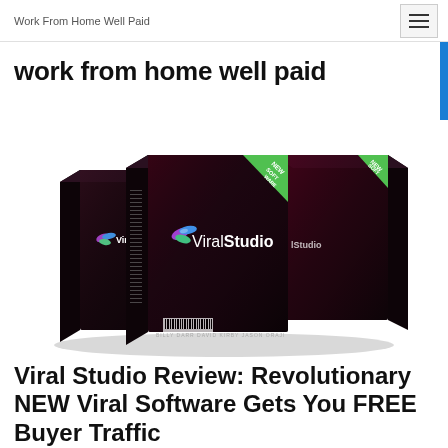Work From Home Well Paid
work from home well paid
[Figure (photo): Product box image showing three dark software boxes labeled 'ViralStudio' with colorful logo, arranged in a staggered layout on white background. Text on boxes reads 'NEW SOFTWARE'. Bottom of front box reads 'BILLY DARR  DAVID KIRBY  JASON ORAJI'.]
Viral Studio Review: Revolutionary NEW Viral Software Gets You FREE Buyer Traffic